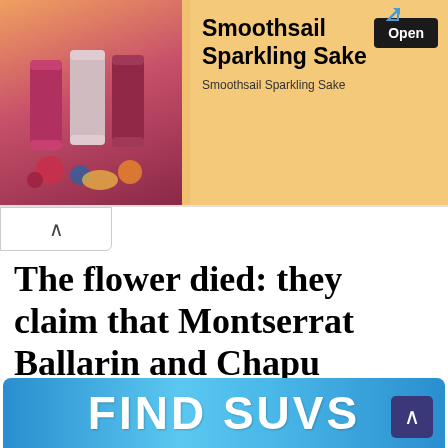[Figure (illustration): Advertisement banner for Smoothsail Sparkling Sake showing colorful cans with fruits on a warm orange-red background]
Smoothsail Sparkling Sake
Open
Smoothsail Sparkling Sake
^
The flower died: they claim that Montserrat Ballarin and Chapu Puelles ended their relationship & More Latest News Here
3 minutes of reading / August 19, 2022
[Figure (infographic): Blue gradient advertisement banner reading FIND SUVS with a dark purple arrow icon]